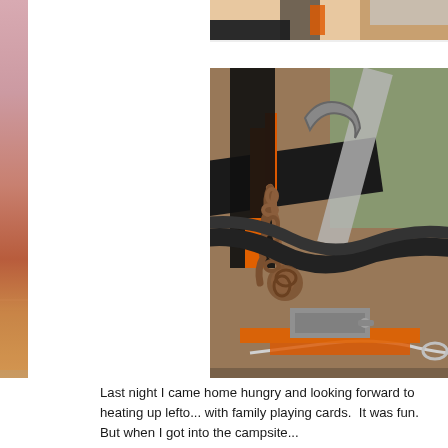[Figure (photo): Left decorative strip showing a sunset/beach gradient with pinkish-orange tones and sandy beach at bottom]
[Figure (photo): Partial photo at top right showing a close-up of a hand or skin with dark glove/equipment]
[Figure (photo): Close-up photo of trailer hitch connection showing chains, cables, safety wire, and orange and black metal components on a trailer tongue resting on gravel ground]
Last night I came home hungry and looking forward to heating up lefto... with family playing cards.  It was fun.  But when I got into the campsite...